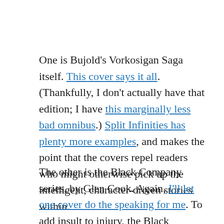One is Bujold's Vorkosigan Saga itself. This cover says it all. (Thankfully, I don't actually have that edition; I have this marginally less bad omnibus.) Split Infinities has plenty more examples, and makes the point that the covers repel readers who might otherwise pick up the intelligent, character-driven stories within.
The other is the Black Company series, by Glen Cook. Again, I'll let one cover do the speaking for me. To add insult to injury, the Black